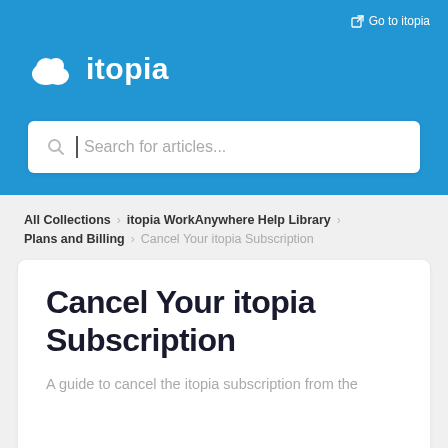Go to itopia
[Figure (logo): itopia cloud logo with white cloud icon and white text 'itopia' on blue background]
Search for articles...
All Collections > itopia WorkAnywhere Help Library > Plans and Billing > Cancel Your itopia Subscription
Cancel Your itopia Subscription
A guide to cancel the itopia subscription from the